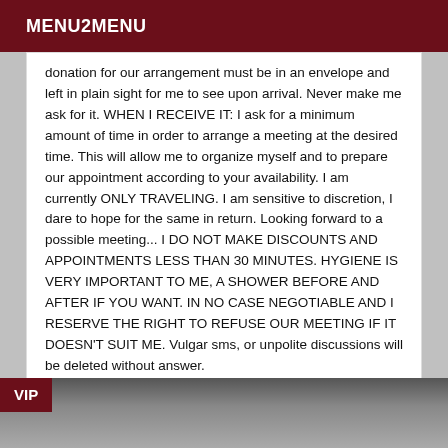MENU2MENU
donation for our arrangement must be in an envelope and left in plain sight for me to see upon arrival. Never make me ask for it. WHEN I RECEIVE IT: I ask for a minimum amount of time in order to arrange a meeting at the desired time. This will allow me to organize myself and to prepare our appointment according to your availability. I am currently ONLY TRAVELING. I am sensitive to discretion, I dare to hope for the same in return. Looking forward to a possible meeting... I DO NOT MAKE DISCOUNTS AND APPOINTMENTS LESS THAN 30 MINUTES. HYGIENE IS VERY IMPORTANT TO ME, A SHOWER BEFORE AND AFTER IF YOU WANT. IN NO CASE NEGOTIABLE AND I RESERVE THE RIGHT TO REFUSE OUR MEETING IF IT DOESN'T SUIT ME. Vulgar sms, or unpolite discussions will be deleted without answer.
VIP